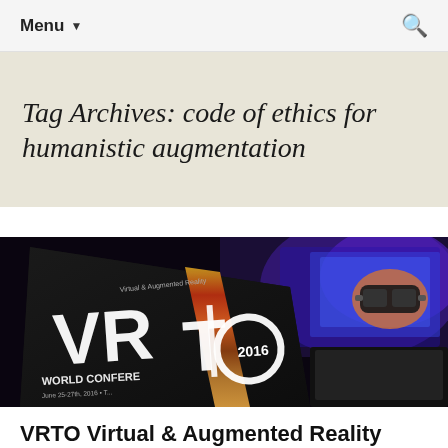Menu ▼
Tag Archives: code of ethics for humanistic augmentation
[Figure (photo): Photo of a VRTO Virtual & Augmented Reality World Conference 2016 promotional book/brochure in the foreground, with a person wearing a VR headset and a TV screen visible in the background. The brochure shows 'Virtual & Augmented Reality VRTO WORLD CONFERENCE 2016 June 25-27th, 2016'.]
VRTO Virtual & Augmented Reality